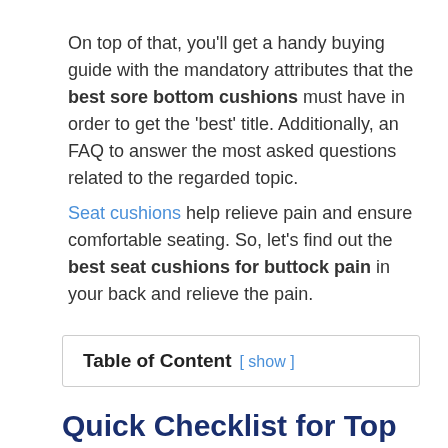On top of that, you'll get a handy buying guide with the mandatory attributes that the best sore bottom cushions must have in order to get the 'best' title. Additionally, an FAQ to answer the most asked questions related to the regarded topic.
Seat cushions help relieve pain and ensure comfortable seating. So, let's find out the best seat cushions for buttock pain in your back and relieve the pain.
Table of Content [ show ]
Quick Checklist for Top Seat